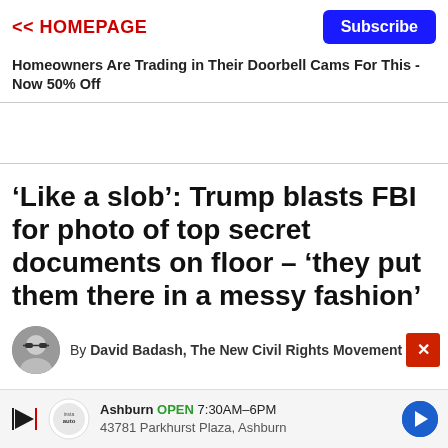<< HOMEPAGE
Subscribe
Homeowners Are Trading in Their Doorbell Cams For This - Now 50% Off
‘Like a slob’: Trump blasts FBI for photo of top secret documents on floor – ‘they put them there in a messy fashion’
By David Badash, The New Civil Rights Movement
Ashburn OPEN 7:30AM–6PM 43781 Parkhurst Plaza, Ashburn